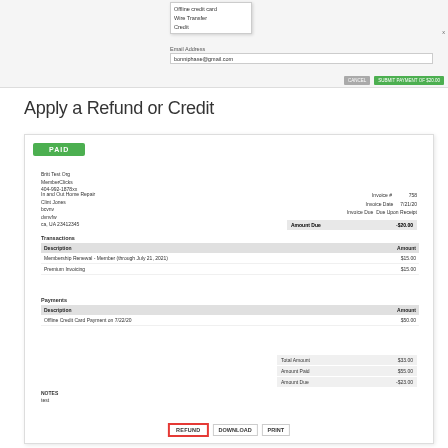[Figure (screenshot): Top section showing a dropdown menu with options: Offline credit card, Wire Transfer, Credit; and an Email Address field with bonniphase@gmail.com, plus Cancel and Submit Payment of $20.00 buttons]
Apply a Refund or Credit
[Figure (screenshot): Invoice screenshot showing PAID badge, biller info (Britt Test Org, MemberClicks, 404-992-1878xx), client info (In and Out Home Repair, Clint Jones, bcvnv, dvnvfw, ca, UA 23412345), invoice metadata (Invoice #: 758, Invoice Date: 7/21/20, Invoice Due: Due Upon Receipt, Amount Due: -$20.00), Transactions table with Membership Renewal - Member (through July 21, 2021) $15.00 and Premium Invoicing $15.00, Payments table with Offline Credit Card Payment on 7/22/20 $50.00, summary showing Total Amount $33.00, Amount Paid $55.00, Amount Due -$23.00, NOTES: test, and bottom buttons REFUND (red border), DOWNLOAD, PRINT]
| Description | Amount |
| --- | --- |
| Membership Renewal - Member (through July 21, 2021) | $15.00 |
| Premium Invoicing | $15.00 |
| Description | Amount |
| --- | --- |
| Offline Credit Card Payment on 7/22/20 | $50.00 |
|  |  |
| --- | --- |
| Total Amount | $33.00 |
| Amount Paid | $55.00 |
| Amount Due | -$23.00 |